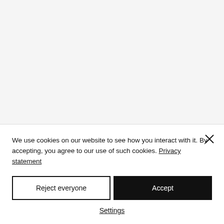We use cookies on our website to see how you interact with it. By accepting, you agree to our use of such cookies. Privacy statement
Reject everyone
Accept
Settings